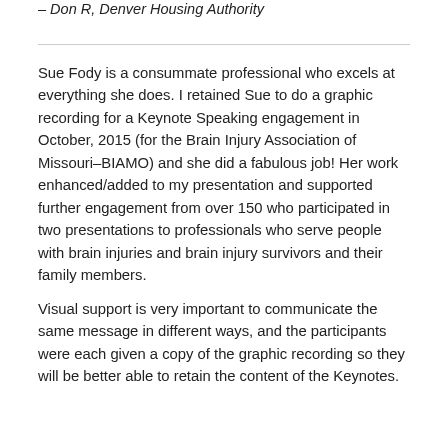– Don R, Denver Housing Authority
Sue Fody is a consummate professional who excels at everything she does. I retained Sue to do a graphic recording for a Keynote Speaking engagement in October, 2015 (for the Brain Injury Association of Missouri–BIAMO) and she did a fabulous job! Her work enhanced/added to my presentation and supported further engagement from over 150 who participated in two presentations to professionals who serve people with brain injuries and brain injury survivors and their family members.
Visual support is very important to communicate the same message in different ways, and the participants were each given a copy of the graphic recording so they will be better able to retain the content of the Keynotes.